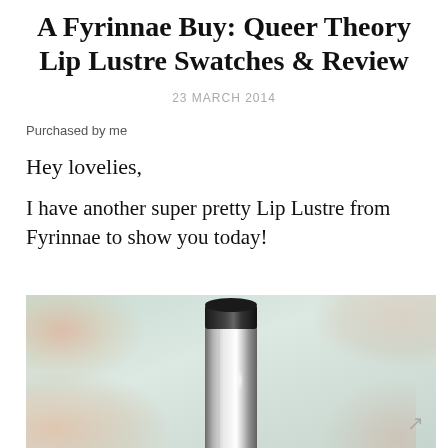A Fyrinnae Buy: Queer Theory Lip Lustre Swatches & Review
23 MARCH 2014
Purchased by me
Hey lovelies,
I have another super pretty Lip Lustre from Fyrinnae to show you today!
[Figure (photo): Close-up product photo of a silver metallic lipstick tube standing upright against a blurred floral background in soft pinks and greens.]